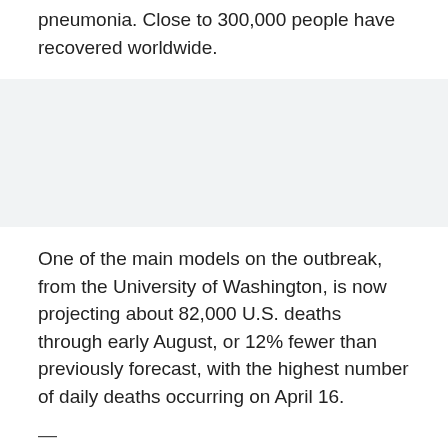pneumonia. Close to 300,000 people have recovered worldwide.
[Figure (other): Advertisement or placeholder block with light gray background]
One of the main models on the outbreak, from the University of Washington, is now projecting about 82,000 U.S. deaths through early August, or 12% fewer than previously forecast, with the highest number of daily deaths occurring on April 16.
—
NEW YORK — New York state recorded 731 new coronavirus deaths Tuesday, marking the biggest one-day jump in the outbreak. The state's death toll since the